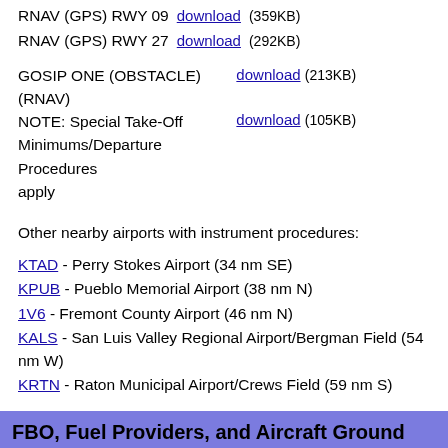RNAV (GPS) RWY 09 download (359KB)
RNAV (GPS) RWY 27 download (292KB)
GOSIP ONE (OBSTACLE) (RNAV) download (213KB)
NOTE: Special Take-Off Minimums/Departure Procedures apply download (105KB)
Other nearby airports with instrument procedures:
KTAD - Perry Stokes Airport (34 nm SE)
KPUB - Pueblo Memorial Airport (38 nm N)
1V6 - Fremont County Airport (46 nm N)
KALS - San Luis Valley Regional Airport/Bergman Field (54 nm W)
KRTN - Raton Municipal Airport/Crews Field (59 nm S)
FBO, Fuel Providers, and Aircraft Ground Support
| Business Name | Contact | Services / Descr |
| --- | --- | --- |
| Huerfano County | 719-989-0376 [email] | Airport management, Aviation fuel, Flight t Aircraft rental |